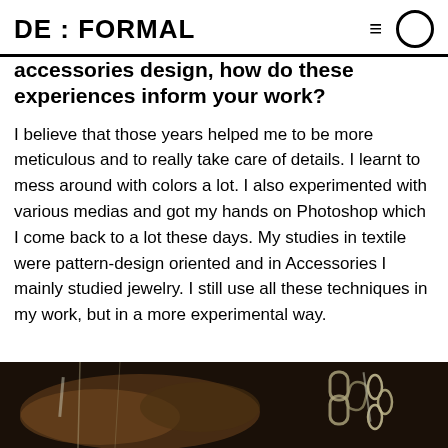DE : FORMAL
accessories design, how do these experiences inform your work?
I believe that those years helped me to be more meticulous and to really take care of details. I learnt to mess around with colors a lot. I also experimented with various medias and got my hands on Photoshop which I come back to a lot these days. My studies in textile were pattern-design oriented and in Accessories I mainly studied jewelry. I still use all these techniques in my work, but in a more experimental way.
[Figure (photo): Dark photograph showing jewelry or chain accessories against a dark background]